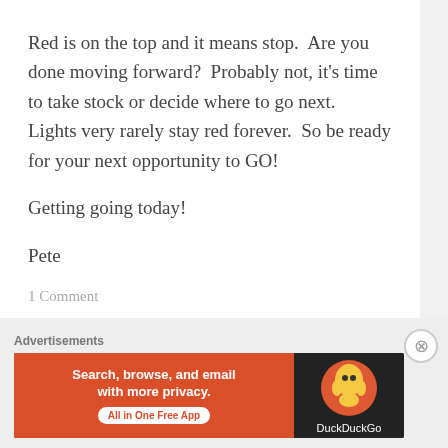Red is on the top and it means stop.  Are you done moving forward?  Probably not, it's time to take stock or decide where to go next.  Lights very rarely stay red forever.  So be ready for your next opportunity to GO!
Getting going today!
Pete
1 Comment
Advertisements
[Figure (infographic): DuckDuckGo advertisement banner: orange left section with text 'Search, browse, and email with more privacy. All in One Free App' and dark right section with DuckDuckGo logo.]